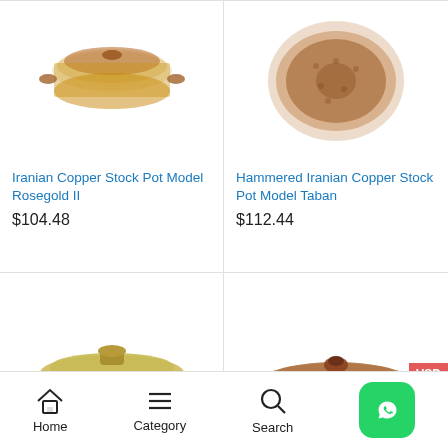[Figure (photo): Iranian Copper Stock Pot Model Rosegold II product image - a copper pot with lid]
Iranian Copper Stock Pot Model Rosegold II
$104.48
[Figure (photo): Hammered Iranian Copper Stock Pot Model Taban product image - top down view of hammered copper pot]
Hammered Iranian Copper Stock Pot Model Taban
$112.44
[Figure (photo): Hammered Iranian Copper Stock Pot Model Baran product image - gold-toned hammered copper pot with lid and two handles]
Hammered Iranian Copper Stock Pot Model Baran
[Figure (photo): Hammered Iranian Copper Stock Pot Model Pita product image - copper colored hammered pot with lid and ring handles]
Hammered Iranian Copper Stock Pot Model Pita
Home  Category  Search